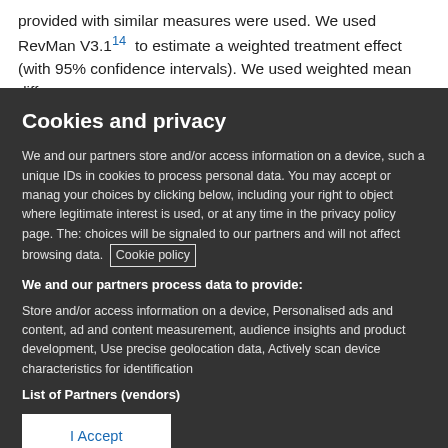provided with similar measures were used. We used RevMan V3.1¹⁴ to estimate a weighted treatment effect (with 95% confidence intervals). We used weighted mean differences
Cookies and privacy
We and our partners store and/or access information on a device, such as unique IDs in cookies to process personal data. You may accept or manage your choices by clicking below, including your right to object where legitimate interest is used, or at any time in the privacy policy page. These choices will be signaled to our partners and will not affect browsing data. Cookie policy
We and our partners process data to provide:
Store and/or access information on a device, Personalised ads and content, ad and content measurement, audience insights and product development, Use precise geolocation data, Actively scan device characteristics for identification
List of Partners (vendors)
I Accept